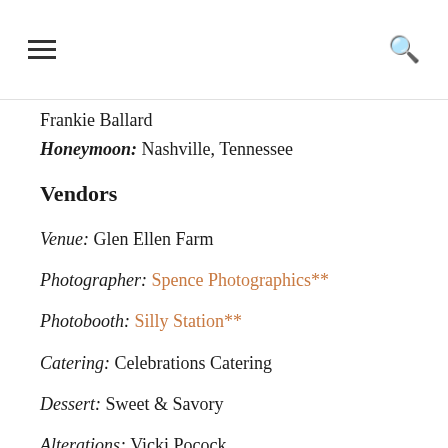☰  🔍
Frankie Ballard
Honeymoon: Nashville, Tennessee
Vendors
Venue: Glen Ellen Farm
Photographer: Spence Photographics**
Photobooth: Silly Station**
Catering: Celebrations Catering
Dessert: Sweet & Savory
Alterations: Vicki Pocock